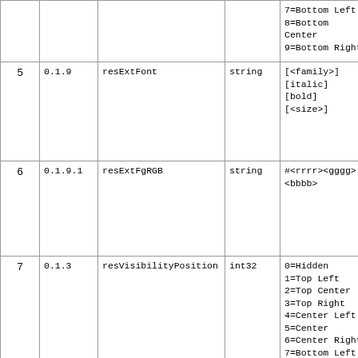| # | Ver | Name | Type | Values | Description |
| --- | --- | --- | --- | --- | --- |
|  |  |  |  | 7=Bottom Left
8=Bottom Center
9=Bottom Right | Resu Snipp |
| 5 | 0.1.9 | resExtFont | string | [<family>]
[italic]
[bold]
[<size>] | Font speci for R label Nokia Italic |
| 6 | 0.1.9.1 | resExtFgRGB | string | #<rrrr><gggg>
<bbbb> | It's th Foreg color used Comm Resu |
| 7 | 0.1.3 | resVisibilityPosition | int32 | 0=Hidden
1=Top Left
2=Top Center
3=Top Right
4=Center Left
5=Center
6=Center Right
7=Bottom Left
8=Bottom Center
9=Bottom Right | Sets Visib Posit Comm Resu |
| 8 | 0.1.9.1 | resTextAngle | uint32 | 0=0 Degrees | It's th |